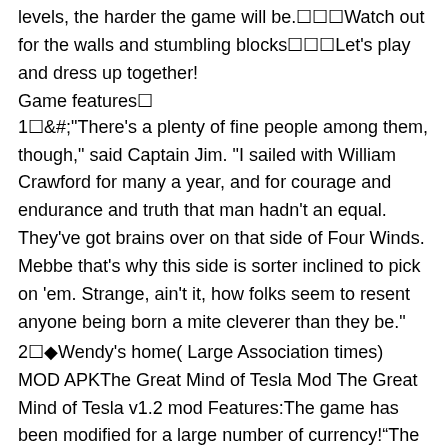levels, the harder the game will be.☐☐☐Watch out for the walls and stumbling blocks☐☐☐Let's play and dress up together!
Game features☐
1☐&#;"There's a plenty of fine people among them, though," said Captain Jim. "I sailed with William Crawford for many a year, and for courage and endurance and truth that man hadn't an equal. They've got brains over on that side of Four Winds. Mebbe that's why this side is sorter inclined to pick on 'em. Strange, ain't it, how folks seem to resent anyone being born a mite cleverer than they be."
2☐◆Wendy's home( Large Association times) MOD APKThe Great Mind of Tesla Mod The Great Mind of Tesla v1.2 mod Features:The game has been modified for a large number of currency!“The present is theirs; the future, for which I really worked, is mine.” ~ Nikola TeslaAn ingenious inventor, a